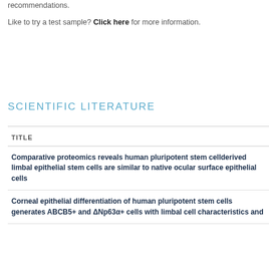recommendations.
Like to try a test sample? Click here for more information.
SCIENTIFIC LITERATURE
| TITLE |
| --- |
| Comparative proteomics reveals human pluripotent stem cellderived limbal epithelial stem cells are similar to native ocular surface epithelial cells |
| Corneal epithelial differentiation of human pluripotent stem cells generates ABCB5+ and ΔNp63α+ cells with limbal cell characteristics and high corneal lineage commitment |